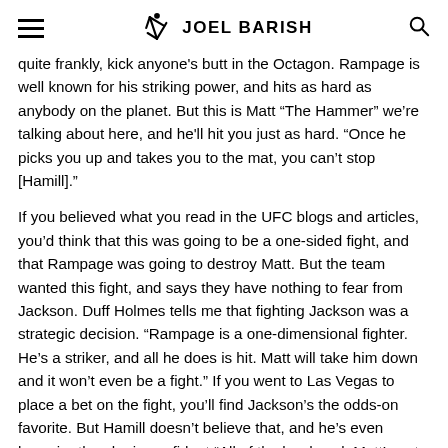JOEL BARISH
quite frankly, kick anyone's butt in the Octagon. Rampage is well known for his striking power, and hits as hard as anybody on the planet. But this is Matt “The Hammer” we’re talking about here, and he'll hit you just as hard. “Once he picks you up and takes you to the mat, you can’t stop [Hamill].”
If you believed what you read in the UFC blogs and articles, you’d think that this was going to be a one-sided fight, and that Rampage was going to destroy Matt. But the team wanted this fight, and says they have nothing to fear from Jackson. Duff Holmes tells me that fighting Jackson was a strategic decision. “Rampage is a one-dimensional fighter. He’s a striker, and all he does is hit. Matt will take him down and it won’t even be a fight.” If you went to Las Vegas to place a bet on the fight, you’ll find Jackson’s the odds-on favorite. But Hamill doesn’t believe that, and he’s even hungrier than he is confident.“All of the hard work Matt’s put in is for this, a shot at fighting for the belt. He’s so close, and he can taste it.”
Today Matt is working with boxing coach Tim Green at the